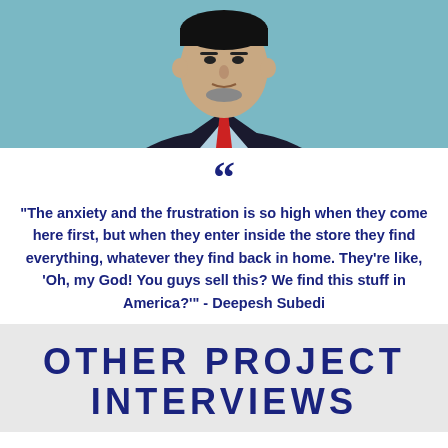[Figure (photo): Portrait photo of a man wearing a dark blazer, light blue shirt, and red tie, with a teal/blue background. Only the upper body and face are visible, cropped at the top of the frame.]
““
"The anxiety and the frustration is so high when they come here first, but when they enter inside the store they find everything, whatever they find back in home. They’re like, ‘Oh, my God! You guys sell this? We find this stuff in America?’" - Deepesh Subedi
OTHER PROJECT INTERVIEWS